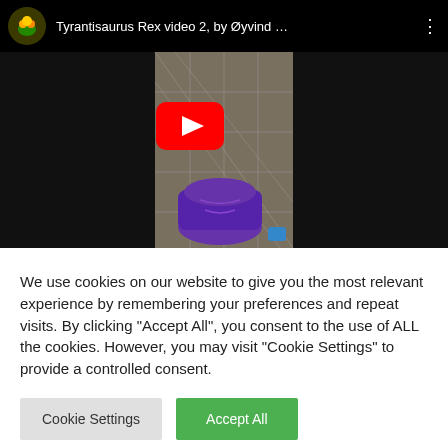[Figure (screenshot): YouTube video embed showing 'Tyrantisaurus Rex video 2, by Øyvind ...' with a purple dinosaur toy on a tiled floor. A red YouTube play button is centered on the thumbnail.]
We use cookies on our website to give you the most relevant experience by remembering your preferences and repeat visits. By clicking "Accept All", you consent to the use of ALL the cookies. However, you may visit "Cookie Settings" to provide a controlled consent.
Cookie Settings | Accept All